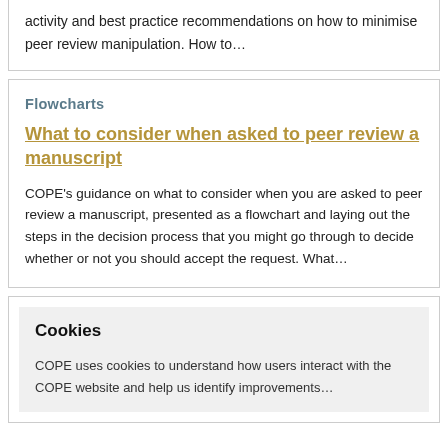activity and best practice recommendations on how to minimise peer review manipulation. How to…
Flowcharts
What to consider when asked to peer review a manuscript
COPE's guidance on what to consider when you are asked to peer review a manuscript, presented as a flowchart and laying out the steps in the decision process that you might go through to decide whether or not you should accept the request. What…
Cookies
COPE uses cookies to understand how users interact with the COPE website and help us identify improvements…